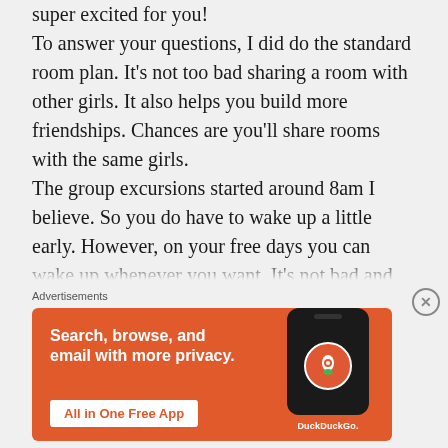super excited for you! To answer your questions, I did do the standard room plan. It's not too bad sharing a room with other girls. It also helps you build more friendships. Chances are you'll share rooms with the same girls. The group excursions started around 8am I believe. So you do have to wake up a little early. However, on your free days you can wake up whenever you want. It's not bad and you get to do more if you wake up early.
[Figure (infographic): DuckDuckGo advertisement banner with orange background, showing a phone with DuckDuckGo logo. Text: 'Search, browse, and email with more privacy. All in One Free App']